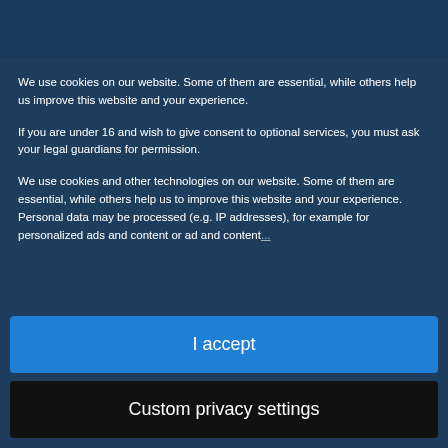[MB] DataSuite
We use cookies on our website. Some of them are essential, while others help us improve this website and your experience.
If you are under 16 and wish to give consent to optional services, you must ask your legal guardians for permission.
We use cookies and other technologies on our website. Some of them are essential, while others help us to improve this website and your experience. Personal data may be processed (e.g. IP addresses), for example for personalized ads and content or ad and content...
I accept
Custom privacy settings